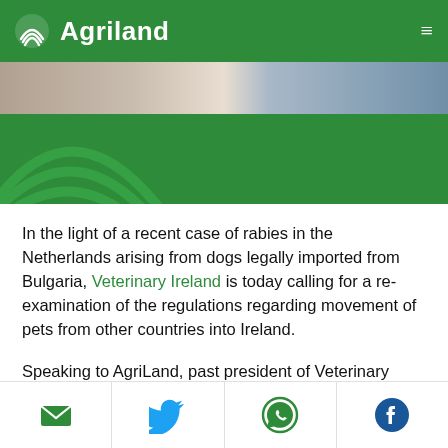Agriland
[Figure (photo): Cropped photo of people with a dog, partially visible at top of article page]
[Figure (logo): Agriland green leaf watermark logo on green background]
In the light of a recent case of rabies in the Netherlands arising from dogs legally imported from Bulgaria, Veterinary Ireland is today calling for a re-examination of the regulations regarding movement of pets from other countries into Ireland.
Speaking to AgriLand, past president of Veterinary Ireland, Alan Rossiter, said the recent case “could have just as easily happened in
Email | Twitter | WhatsApp | Facebook